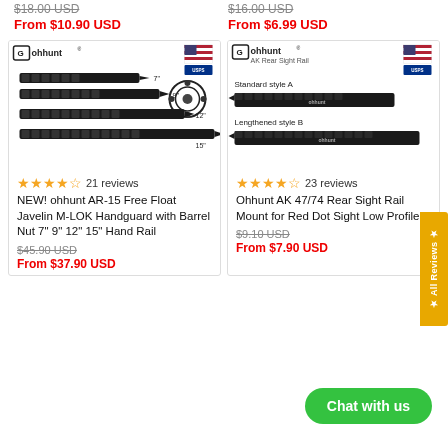$18.00 USD (strikethrough)
From $10.90 USD
$16.00 USD (strikethrough)
From $6.99 USD
[Figure (photo): ohhunt AR-15 Free Float Javelin M-LOK Handguard product image showing 7in, 9in, 12in, 15in sizes with a round barrel nut, ohhunt logo, US flag and USPS logo]
[Figure (photo): ohhunt AK Rear Sight Rail product image showing Standard style A and Lengthened style B rail mounts, ohhunt logo, US flag and USPS logo]
21 reviews
23 reviews
NEW! ohhunt AR-15 Free Float Javelin M-LOK Handguard with Barrel Nut 7" 9" 12" 15" Hand Rail
Ohhunt AK 47/74 Rear Sight Rail Mount for Red Dot Sight Low Profile
$45.90 USD (strikethrough)
From $37.90 USD
$9.10 USD (strikethrough)
From $7.90 USD
Chat with us